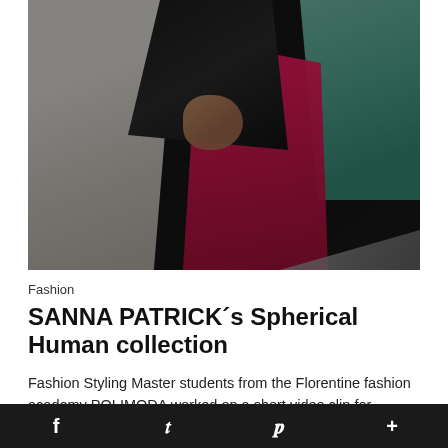[Figure (photo): Fashion photo showing models wearing a white quilted dress, a pink/magenta outfit, black accessories, a teal scarf, against a dark background. Bodies partially cropped, dramatic lighting.]
Fashion
SANNA PATRICK´s Spherical Human collection
Fashion Styling Master students from the Florentine fashion academy POLIMODA worked on a short video clip for SANNA
f  t  p  +